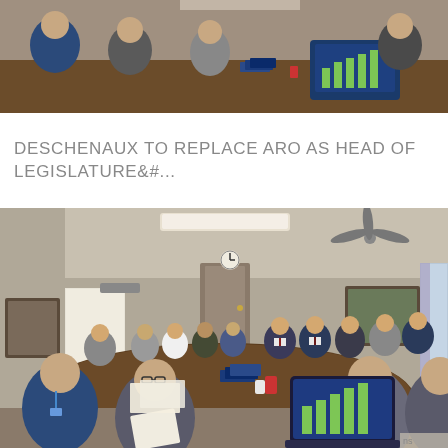[Figure (photo): Cropped top portion of a meeting room photo showing people seated around a conference table, with laptops open and binders on the table. Appears to be a legislative or government committee meeting.]
DESCHENAUX TO REPLACE ARO AS HEAD OF LEGISLATURE&#...
[Figure (photo): Full view of a government committee or legislative meeting room with many people seated around a large conference table. A ceiling fan is visible, along with framed artwork on the walls and a whiteboard. Participants include men and women in business attire. Laptops and binders are visible on the table.]